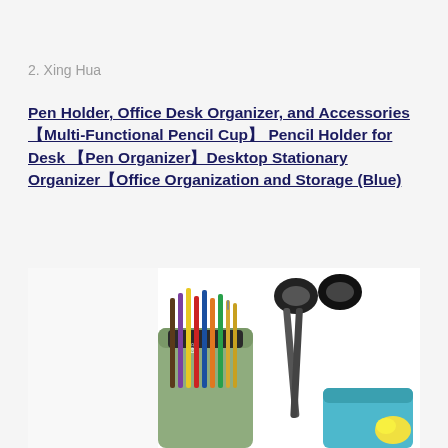2. Xing Hua
Pen Holder, Office Desk Organizer, and Accessories【Multi-Functional Pencil Cup】 Pencil Holder for Desk 【Pen Organizer】Desktop Stationary Organizer【Office Organization and Storage (Blue)
[Figure (photo): Photo of a multi-functional desk organizer/pencil cup in green color, filled with various pens, pencils, and markers in multiple colors, with a pair of black scissors sticking out from the top. A blue organizer compartment is visible at the bottom right. The background is white.]